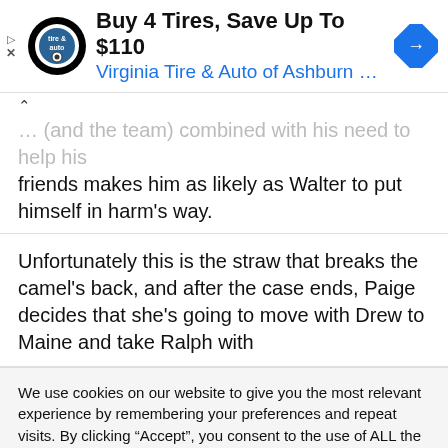[Figure (screenshot): Advertisement banner: tire logo, text 'Buy 4 Tires, Save Up To $110' and 'Virginia Tire & Auto of Ashburn ...', blue navigation arrow icon]
...s (and the team) combined with his need to help his friends makes him as likely as Walter to put himself in harm's way.
Unfortunately this is the straw that breaks the camel's back, and after the case ends, Paige decides that she's going to move with Drew to Maine and take Ralph with
We use cookies on our website to give you the most relevant experience by remembering your preferences and repeat visits. By clicking “Accept”, you consent to the use of ALL the cookies.
Do not sell my personal information.
Cookie Settings  Accept